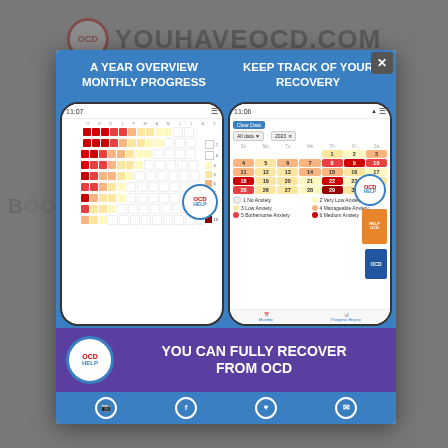[Figure (screenshot): Website screenshot showing a modal popup for an OCD Help app. The modal contains two smartphone screens showing app features: a yearly heatmap progress tracker on the left phone and a monthly calendar tracker on the right phone. Below the phones is a purple banner with OCD Help logo and text 'YOU CAN FULLY RECOVER FROM OCD'. The background shows the youhaveocd.com website.]
A YEAR OVERVIEW MONTHLY PROGRESS
KEEP TRACK OF YOUR RECOVERY
YOU CAN FULLY RECOVER FROM OCD